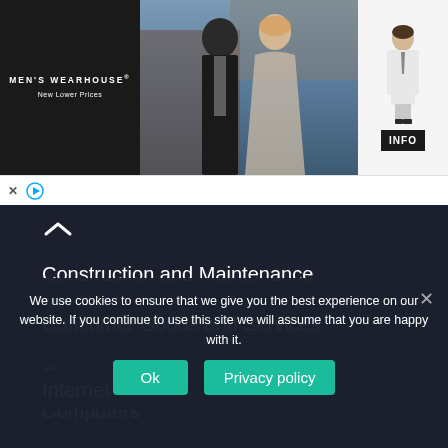[Figure (screenshot): Men's Wearhouse advertisement banner showing a couple in formal wear and a child in a white suit, with 'New Lower Prices' tagline and INFO button]
Construction and Maintenance
Consumer Goods and Services
Communications
Computers
Internet
We use cookies to ensure that we give you the best experience on our website. If you continue to use this site we will assume that you are happy with it.